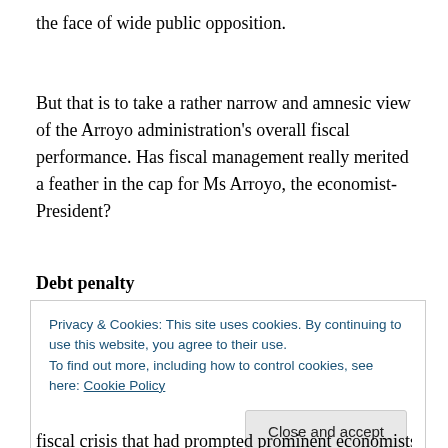the face of wide public opposition.
But that is to take a rather narrow and amnesic view of the Arroyo administration's overall fiscal performance. Has fiscal management really merited a feather in the cap for Ms Arroyo, the economist-President?
Debt penalty
Privacy & Cookies: This site uses cookies. By continuing to use this website, you agree to their use.
To find out more, including how to control cookies, see here: Cookie Policy
[Close and accept button]
fiscal crisis that had prompted prominent economists to